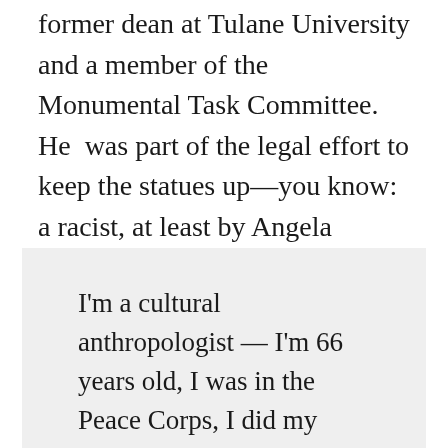former dean at Tulane University and a member of the Monumental Task Committee. He was part of the legal effort to keep the statues up—you know: a racist, at least by Angela Kinlaw's lights. He says,
I'm a cultural anthropologist — I'm 66 years old, I was in the Peace Corps, I did my research overseas, and I helped two different...